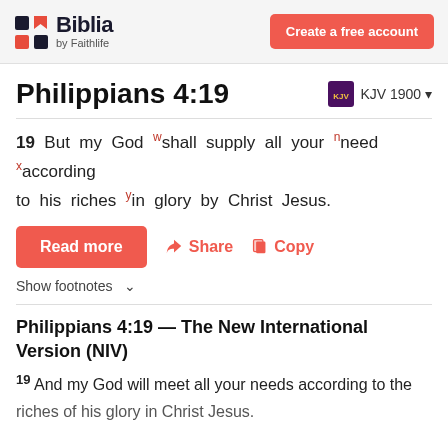Biblia by Faithlife | Create a free account
Philippians 4:19
19 But my God w shall supply all your n need x according to his riches y in glory by Christ Jesus.
Read more  Share  Copy
Show footnotes
Philippians 4:19 — The New International Version (NIV)
19 And my God will meet all your needs according to the riches of his glory in Christ Jesus.